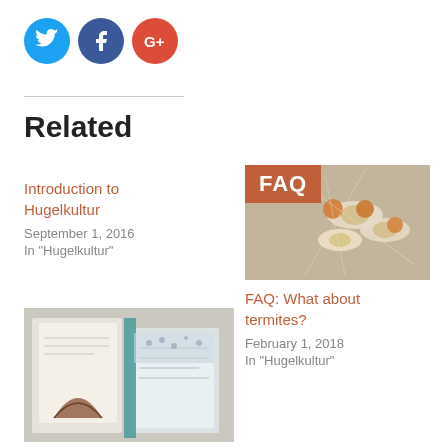[Figure (other): Social media share icons: Twitter (blue), Facebook (dark blue), Google+ (red)]
Related
Introduction to Hugelkultur
September 1, 2016
In "Hugelkultur"
[Figure (photo): Macro photo of termites with FAQ orange badge overlay]
FAQ: What about termites?
February 1, 2018
In "Hugelkultur"
[Figure (photo): Book/diagram pages showing hugel design illustrations]
How to design and build hugels